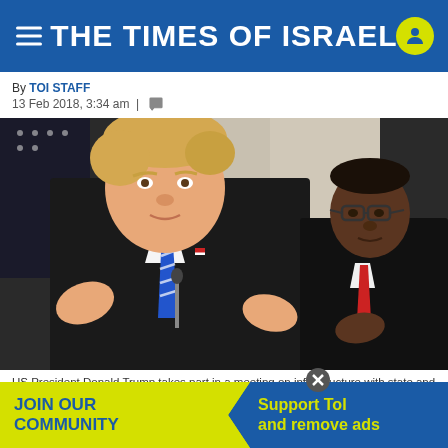THE TIMES OF ISRAEL
By TOI STAFF
13 Feb 2018, 3:34 am  |
[Figure (photo): US President Donald Trump speaks at a meeting on infrastructure with state and local officials in the State Dining Room of the White House, with another official seated to his right.]
US President Donald Trump takes part in a meeting on infrastructure with state and local officials in the State Dining Room of the White House on February        , Mayor Ge        pi,